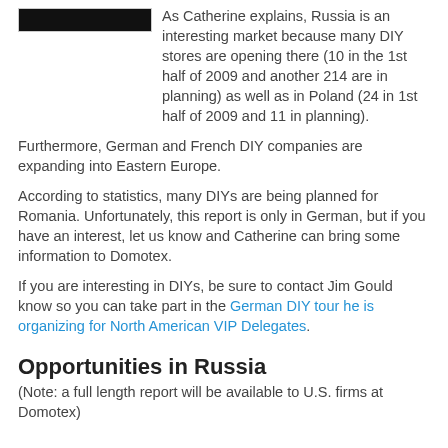[Figure (photo): Black rectangular image, partially visible at top of page]
As Catherine explains, Russia is an interesting market because many DIY stores are opening there (10 in the 1st half of 2009 and another 214 are in planning) as well as in Poland (24 in 1st half of 2009 and 11 in planning).
Furthermore, German and French DIY companies are expanding into Eastern Europe.
According to statistics, many DIYs are being planned for Romania. Unfortunately, this report is only in German, but if you have an interest, let us know and Catherine can bring some information to Domotex.
If you are interesting in DIYs, be sure to contact Jim Gould know so you can take part in the German DIY tour he is organizing for North American VIP Delegates.
Opportunities in Russia
(Note: a full length report will be available to U.S. firms at Domotex)